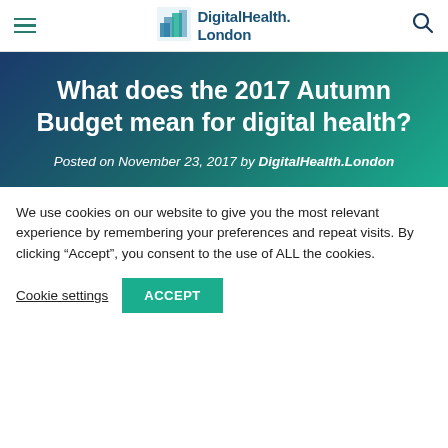DigitalHealth.London
What does the 2017 Autumn Budget mean for digital health?
Posted on November 23, 2017 by DigitalHealth.London
We use cookies on our website to give you the most relevant experience by remembering your preferences and repeat visits. By clicking “Accept”, you consent to the use of ALL the cookies.
Cookie settings  ACCEPT